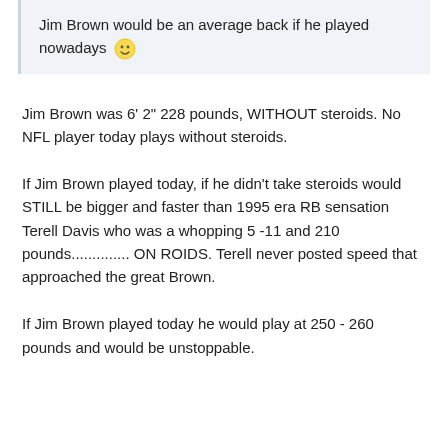Jim Brown would be an average back if he played nowadays 😊
Jim Brown was 6' 2" 228 pounds, WITHOUT steroids. No NFL player today plays without steroids.
If Jim Brown played today, if he didn't take steroids would STILL be bigger and faster than 1995 era RB sensation Terell Davis who was a whopping 5 -11 and 210 pounds............. ON ROIDS. Terell never posted speed that approached the great Brown.
If Jim Brown played today he would play at 250 - 260 pounds and would be unstoppable.